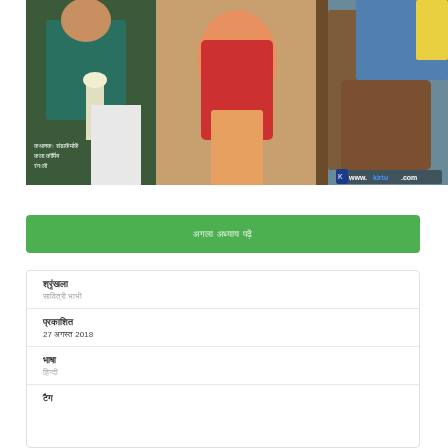[Figure (illustration): Animated/comic style illustration showing a woman in a red outfit in what appears to be a restaurant or bar setting with other characters in the background. Watermark text 'www.kirtu.com' visible in bottom right. Hindi text credits visible in bottom left.]
अगला अध्याय पढ़ें
श्रृंखला
सावित्री भाभी
प्रकाशित
27 अगस्त 2018
भाषा
हिन्दी
टैग